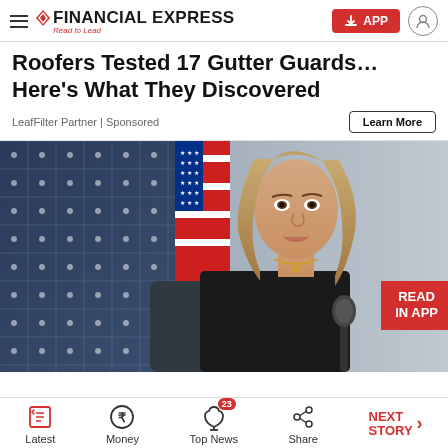Financial Express — Read to Lead
Roofers Tested 17 Gutter Guards… Here's What They Discovered
LeafFilter Partner | Sponsored
[Figure (photo): Woman with blonde hair in black outfit sitting at a hearing desk with a microphone, US flag and solar panel in background]
Latest | Money | Top News (23) | Share | NEXT STORY